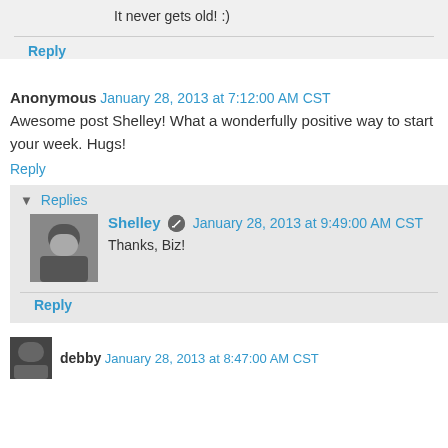It never gets old! :)
Reply
Anonymous  January 28, 2013 at 7:12:00 AM CST
Awesome post Shelley! What a wonderfully positive way to start your week. Hugs!
Reply
Replies
Shelley  January 28, 2013 at 9:49:00 AM CST
Thanks, Biz!
Reply
debby  January 28, 2013 at 8:47:00 AM CST